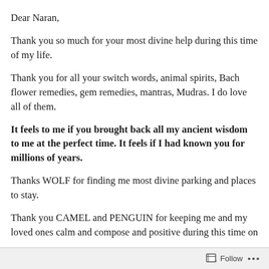Dear Naran,
Thank you so much for your most divine help during this time of my life.
Thank you for all your switch words, animal spirits, Bach flower remedies, gem remedies, mantras, Mudras. I do love all of them.
It feels to me if you brought back all my ancient wisdom to me at the perfect time. It feels if I had known you for millions of years.
Thanks WOLF for finding me most divine parking and places to stay.
Thank you CAMEL and PENGUIN for keeping me and my loved ones calm and compose and positive during this time on
Follow ...